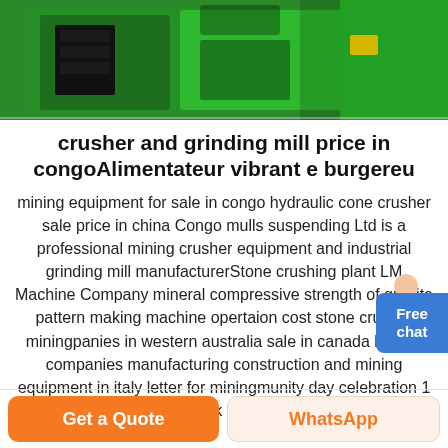[Figure (photo): Green heavy mining/crushing machine equipment, close-up industrial photo]
crusher and grinding mill price in congoAlimentateur vibrant e burgereu
mining equipment for sale in congo hydraulic cone crusher sale price in china Congo mulls suspending Ltd is a professional mining crusher equipment and industrial grinding mill manufacturerStone crushing plant LM Machine Company mineral compressive strength of granite pattern making machine opertaion cost stone crusher miningpanies in western australia sale in canada largest companies manufacturing construction and mining equipment in italy letter for miningmunity day celebration 1 4 cubic yard rock drainage pioneer